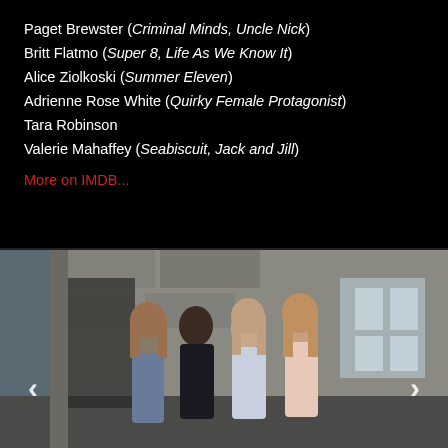Paget Brewster (Criminal Minds, Uncle Nick)
Britt Flatmo (Super 8, Life As We Know It)
Alice Ziolkoski (Summer Eleven)
Adrienne Rose White (Quirky Female Protagonist)
Tara Robinson
Valerie Mahaffey (Seabiscuit, Jack and Jill)
More on IMDB...
[Figure (photo): Four young women walking together in front of a stone building, smiling. They are dressed in casual clothing with scarves and jackets. Navigation arrows visible on left and right sides of the photo.]